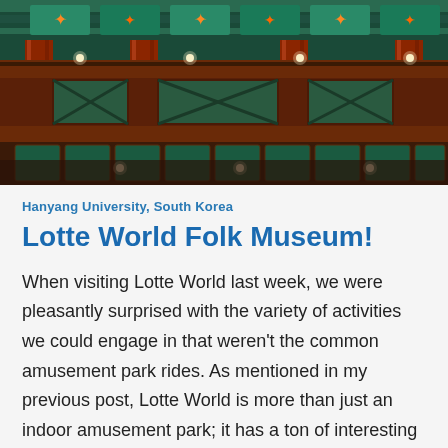[Figure (photo): Interior of a Korean traditional building (Lotte World Folk Museum) showing ornate red wooden pillars, teal/green painted ceiling with decorative patterns, balconies with X-pattern railings, and warm string lights illuminating the structure at night.]
Hanyang University, South Korea
Lotte World Folk Museum!
When visiting Lotte World last week, we were pleasantly surprised with the variety of activities we could engage in that weren't the common amusement park rides. As mentioned in my previous post, Lotte World is more than just an indoor amusement park; it has a ton of interesting things to experience such as an aquarium, ...